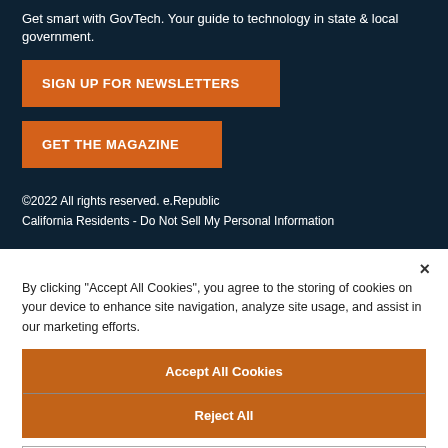Get smart with GovTech. Your guide to technology in state & local government.
SIGN UP FOR NEWSLETTERS
GET THE MAGAZINE
©2022 All rights reserved. e.Republic
California Residents - Do Not Sell My Personal Information
×
By clicking "Accept All Cookies", you agree to the storing of cookies on your device to enhance site navigation, analyze site usage, and assist in our marketing efforts.
Accept All Cookies
Reject All
Cookies Settings